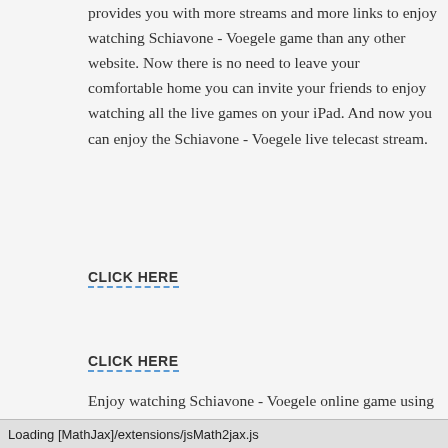provides you with more streams and more links to enjoy watching Schiavone - Voegele game than any other website. Now there is no need to leave your comfortable home you can invite your friends to enjoy watching all the live games on your iPad. And now you can enjoy the Schiavone - Voegele live telecast stream.
CLICK HERE
CLICK HERE
CLICK HERE
Enjoy watching Schiavone - Voegele online game using our
Loading [MathJax]/extensions/jsMath2jax.js